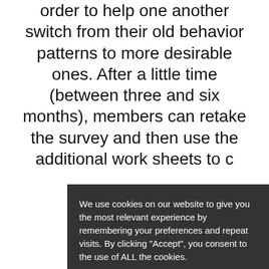order to help one another switch from their old behavior patterns to more desirable ones. After a little time (between three and six months), members can retake the survey and then use the additional work sheets to c...
[Figure (screenshot): Cookie consent dialog overlay with dark background. Text: 'We use cookies on our website to give you the most relevant experience by remembering your preferences and repeat visits. By clicking "Accept", you consent to the use of ALL the cookies.' Two buttons: 'Cookie Settings' (grey) and 'Accept All' (green). Partially visible green circle button labeled 'P' and green pill button labeled 'PURC' underneath the overlay.]